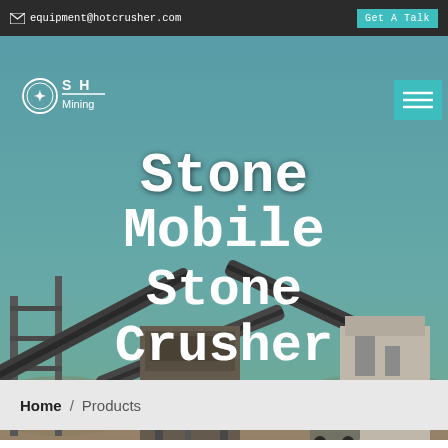equipment@hotcrusher.com   Get A Talk
[Figure (screenshot): Hero banner image of a mobile stone crusher plant at an industrial site with conveyor belts and heavy machinery against a blue sky. Overlaid with white bold text: 'Stone Mobile Stone Crusher Machine Price In India'. Logo with compass/gear icon reading 'SHM Mining' at top left, teal hamburger menu at top right.]
Home / Products
Different Machines To Meet All